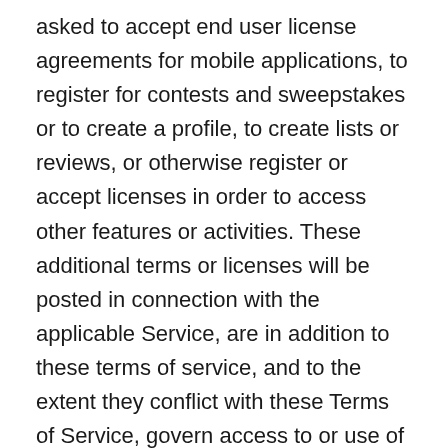asked to accept end user license agreements for mobile applications, to register for contests and sweepstakes or to create a profile, to create lists or reviews, or otherwise register or accept licenses in order to access other features or activities. These additional terms or licenses will be posted in connection with the applicable Service, are in addition to these terms of service, and to the extent they conflict with these Terms of Service, govern access to or use of that particular Service.
RUTHERFORD SOURCE may modify these Terms of Service from time to time in its sole discretion. Each time you use access the Site, Services or Content from the Site via the Services you will be deemed to have accepted any changes to these Terms of Service. RUTHERFORD SOURCE shall have no obligation to notify you of any such changes other than posting such modifications on the Site,